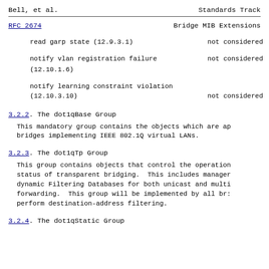Bell, et al.                    Standards Track
RFC 2674                    Bridge MIB Extensions
read garp state (12.9.3.1)                    not considered
notify vlan registration failure    not considered
(12.10.1.6)
notify learning constraint violation
(12.10.3.10)                                not considered
3.2.2.  The dot1qBase Group
This mandatory group contains the objects which are ap
bridges implementing IEEE 802.1Q virtual LANs.
3.2.3.  The dot1qTp Group
This group contains objects that control the operation
status of transparent bridging.  This includes manager
dynamic Filtering Databases for both unicast and multi
forwarding.  This group will be implemented by all br:
perform destination-address filtering.
3.2.4.  The dot1qStatic Group